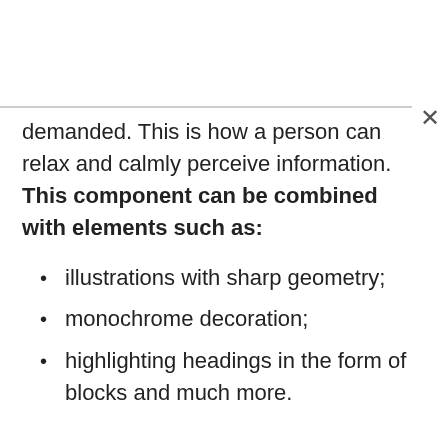demanded. This is how a person can relax and calmly perceive information. This component can be combined with elements such as:
illustrations with sharp geometry;
monochrome decoration;
highlighting headings in the form of blocks and much more.